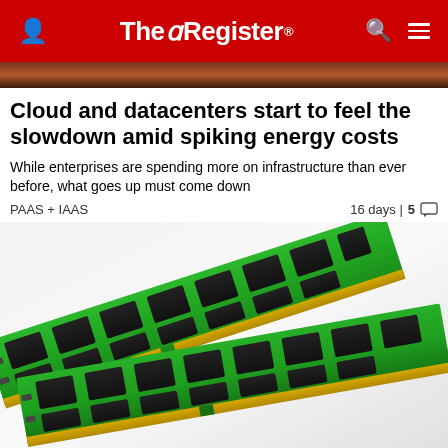The Register
Cloud and datacenters start to feel the slowdown amid spiking energy costs
While enterprises are spending more on infrastructure than ever before, what goes up must come down
PAAS + IAAS   16 days | 5 comments
[Figure (photo): Two green DDR RAM memory module sticks photographed at an angle against a white/grey gradient background]